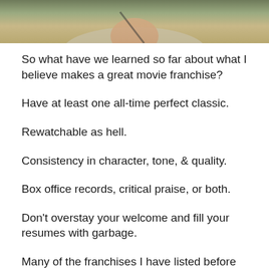[Figure (photo): Partial photo of a person visible from shoulders up, cropped at top of page]
So what have we learned so far about what I believe makes a great movie franchise?
Have at least one all-time perfect classic.
Rewatchable as hell.
Consistency in character, tone, & quality.
Box office records, critical praise, or both.
Don't overstay your welcome and fill your resumes with garbage.
Many of the franchises I have listed before our top spot